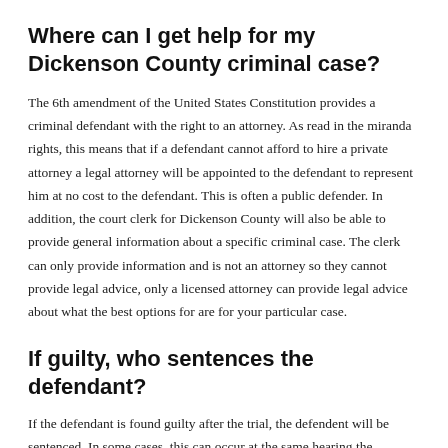Where can I get help for my Dickenson County criminal case?
The 6th amendment of the United States Constitution provides a criminal defendant with the right to an attorney. As read in the miranda rights, this means that if a defendant cannot afford to hire a private attorney a legal attorney will be appointed to the defendant to represent him at no cost to the defendant. This is often a public defender. In addition, the court clerk for Dickenson County will also be able to provide general information about a specific criminal case. The clerk can only provide information and is not an attorney so they cannot provide legal advice, only a licensed attorney can provide legal advice about what the best options for are for your particular case.
If guilty, who sentences the defendant?
If the defendant is found guilty after the trial, the defendent will be sentenced. In some cases, this can occur at the same hearing the defendant is found guilty in court, in other cases a separate hearing will